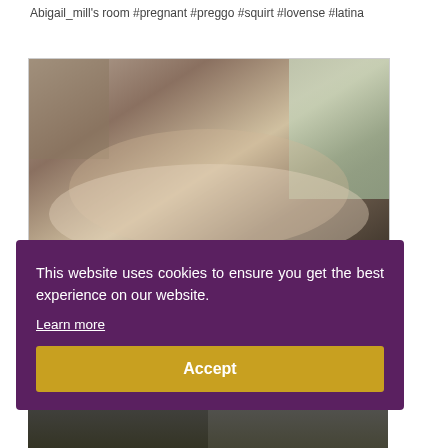Abigail_mill's room #pregnant #preggo #squirt #lovense #latina
[Figure (photo): A tattooed woman in lingerie lying on a white bed, photographed from above at an angle, with a window and furniture visible in the background.]
This website uses cookies to ensure you get the best experience on our website.
Learn more
Accept
[Figure (photo): Two partial thumbnail images visible at the bottom of the page, cropped by the cookie overlay.]